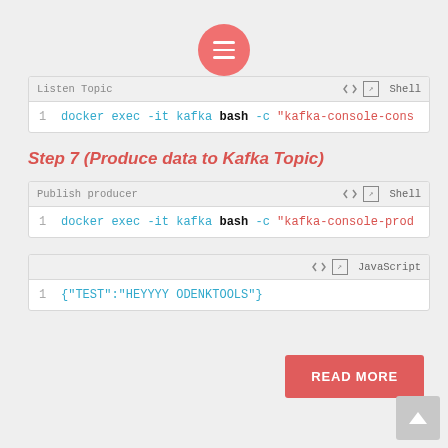[Figure (screenshot): Red circular menu button with three white horizontal lines (hamburger icon)]
Listen Topic  Shell
1  docker exec -it kafka bash -c "kafka-console-cons
Step 7 (Produce data to Kafka Topic)
Publish producer  Shell
1  docker exec -it kafka bash -c "kafka-console-prod
JavaScript
1  {"TEST":"HEYYYY ODENKTOOLS"}
READ MORE